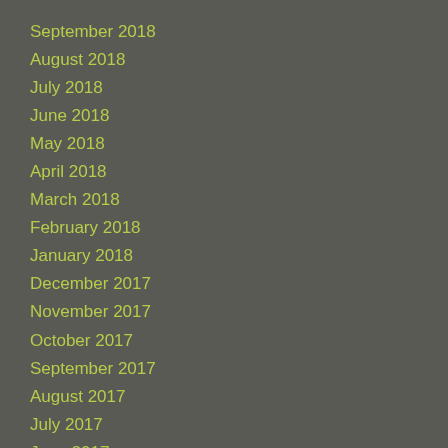September 2018
August 2018
July 2018
June 2018
May 2018
April 2018
March 2018
February 2018
January 2018
December 2017
November 2017
October 2017
September 2017
August 2017
July 2017
June 2017
May 2017